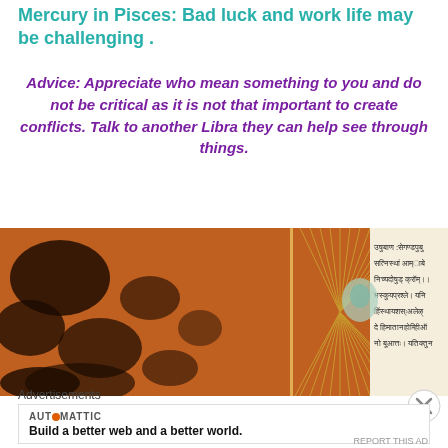Mercury in Pisces: Bad luck and work life may be challenging .
Advice: Appreciate who mean something to you and do not be critical as it is not that important to create conflicts. Talk to another Libra they can help see through things.
[Figure (photo): An ancient manuscript or book with Sanskrit text on the right side and a decorative illustration, with an orange/brown painted or decorated background on the left.]
Advertisements
AUTOMATTIC
Build a better web and a better world.